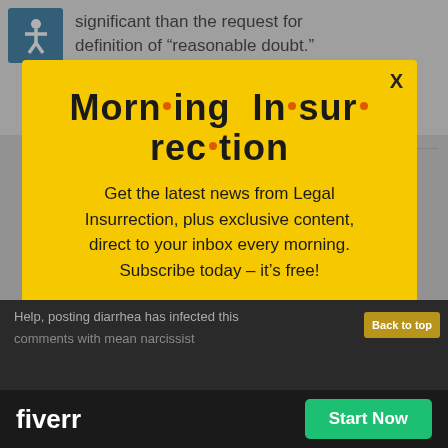significant than the request for definition of “reasonable doubt.”
JustSayN2O | August 16, 2018 at 10:50
[Figure (infographic): Modal popup for Morning Insurrection newsletter signup with yellow background, title 'Morn·ing In·sur·rec·tion', subscription description, and JOIN NOW button]
Help, posting diarrhea has infected this comments with mean narcissist
[Figure (logo): Fiverr logo and Start Now button on black bar at bottom]